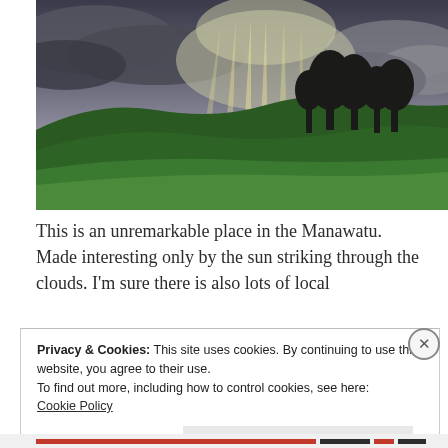[Figure (photo): Landscape photo of rolling green hills under dramatic cloudy sky with sunbeams (crepuscular rays) breaking through clouds. Dark silhouettes of trees on hilltop. Green pasture in foreground. Manawatu, New Zealand.]
This is an unremarkable place in the Manawatu. Made interesting only by the sun striking through the clouds. I'm sure there is also lots of local
Privacy & Cookies: This site uses cookies. By continuing to use this website, you agree to their use.
To find out more, including how to control cookies, see here:
Cookie Policy
Close and accept